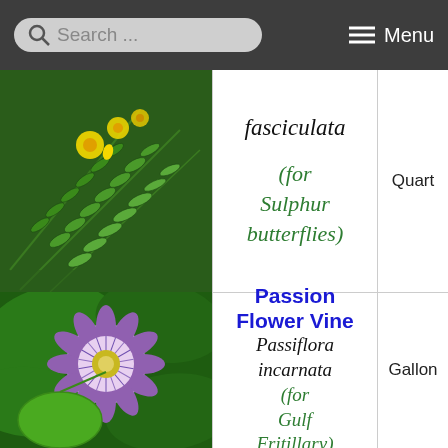Search ... Menu
[Figure (photo): Photo of Senna fasciculata plant with yellow flowers and green feathery leaves]
fasciculata (for Sulphur butterflies)
Quart
[Figure (photo): Photo of Passiflora incarnata (Passion Flower Vine) showing purple flower and green fruit]
Passion Flower Vine Passiflora incarnata (for Gulf Fritillary)
Gallon